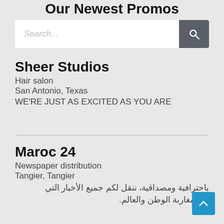Our Newest Promos
[Figure (screenshot): Search bar with text input field and search button]
Sheer Studios
Hair salon
San Antonio, Texas
WE'RE JUST AS EXCITED AS YOU ARE
Maroc 24
Newspaper distribution
Tangier, Tangier
باحترافية ومصداقية، ننقل لكم جميع الأخبار التي تهم مغاربة الوطن والعالم.